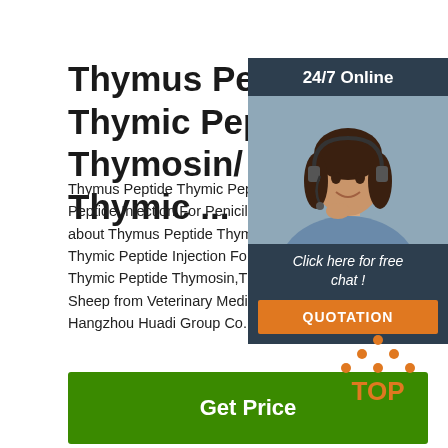Thymus Peptide Thymic Peptide Thymosin/ Tp-30 Thymic ...
Thymus Peptide Thymic Peptide Thymosin/ Tp-3... Peptide Injection For Penicillin Sheep, Find Com... about Thymus Peptide Thymic Peptide Thymosin... Thymic Peptide Injection For Penicillin Sheep,Th... Thymic Peptide Thymosin,Thymic Peptide Inject... Sheep from Veterinary Medicine Supplier or Man... Hangzhou Huadi Group Co., Ltd.
[Figure (photo): Customer service representative with headset, 24/7 Online chat widget with orange QUOTATION button]
Get Price
[Figure (logo): TOP logo with orange triangle dots above the word TOP in orange]